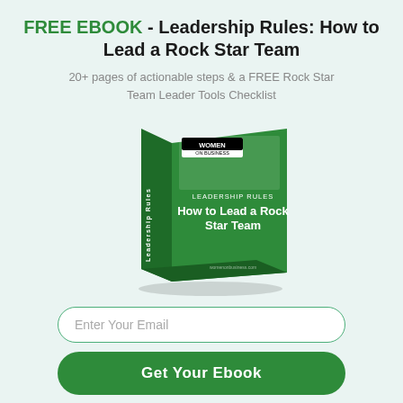FREE EBOOK - Leadership Rules: How to Lead a Rock Star Team
20+ pages of actionable steps & a FREE Rock Star Team Leader Tools Checklist
[Figure (illustration): 3D green book cover with 'WOMEN ON BUSINESS' logo at top, text 'LEADERSHIP RULES How to Lead a Rock Star Team' on the front cover, and spine text visible on the left side.]
Enter Your Email
Get Your Ebook